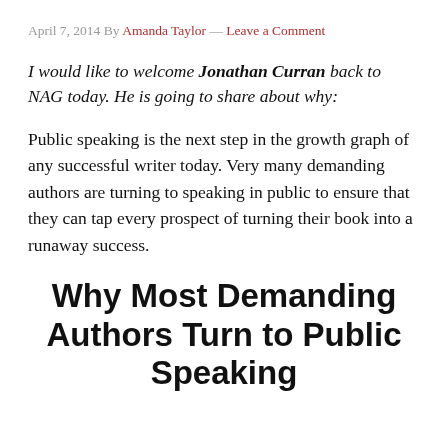April 7, 2014 By Amanda Taylor — Leave a Comment
I would like to welcome Jonathan Curran back to NAG today. He is going to share about why:
Public speaking is the next step in the growth graph of any successful writer today. Very many demanding authors are turning to speaking in public to ensure that they can tap every prospect of turning their book into a runaway success.
Why Most Demanding Authors Turn to Public Speaking